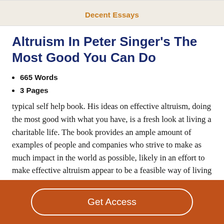Decent Essays
Altruism In Peter Singer's The Most Good You Can Do
665 Words
3 Pages
typical self help book. His ideas on effective altruism, doing the most good with what you have, is a fresh look at living a charitable life. The book provides an ample amount of examples of people and companies who strive to make as much impact in the world as possible, likely in an effort to make effective altruism appear to be a feasible way of living
Get Access